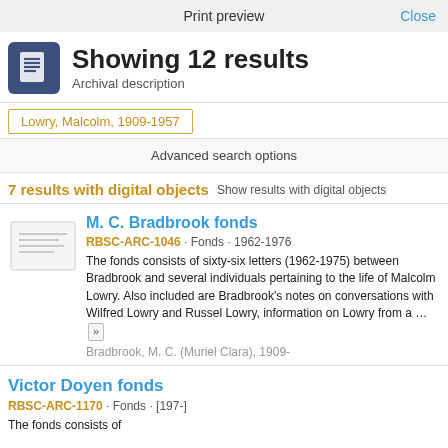Print preview   Close
Showing 12 results
Archival description
Lowry, Malcolm, 1909-1957
Advanced search options
7 results with digital objects   Show results with digital objects
M. C. Bradbrook fonds
RBSC-ARC-1046 · Fonds · 1962-1976
The fonds consists of sixty-six letters (1962-1975) between Bradbrook and several individuals pertaining to the life of Malcolm Lowry. Also included are Bradbrook's notes on conversations with Wilfred Lowry and Russel Lowry, information on Lowry from a ...
Bradbrook, M. C. (Muriel Clara), 1909-
Victor Doyen fonds
RBSC-ARC-1170 · Fonds · [197-]
The fonds consists of...